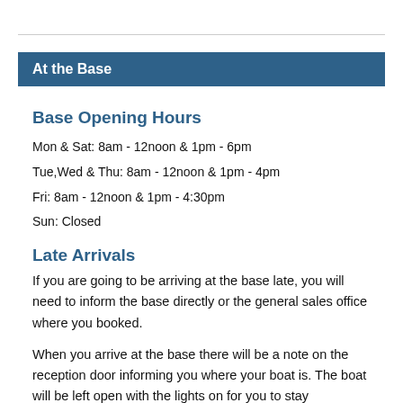At the Base
Base Opening Hours
Mon & Sat: 8am - 12noon & 1pm - 6pm
Tue,Wed & Thu: 8am - 12noon & 1pm - 4pm
Fri: 8am - 12noon & 1pm - 4:30pm
Sun: Closed
Late Arrivals
If you are going to be arriving at the base late, you will need to inform the base directly or the general sales office where you booked.
When you arrive at the base there will be a note on the reception door informing you where your boat is. The boat will be left open with the lights on for you to stay